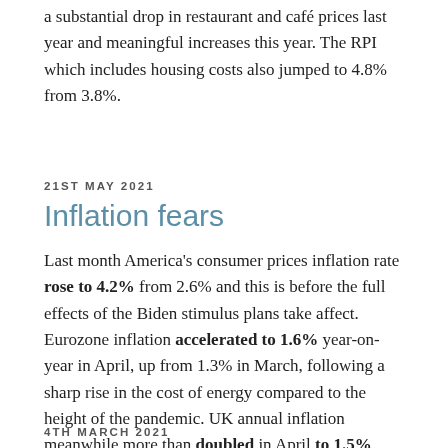a substantial drop in restaurant and café prices last year and meaningful increases this year. The RPI which includes housing costs also jumped to 4.8% from 3.8%.
21ST MAY 2021
Inflation fears
Last month America's consumer prices inflation rate rose to 4.2% from 2.6% and this is before the full effects of the Biden stimulus plans take affect. Eurozone inflation accelerated to 1.6% year-on-year in April, up from 1.3% in March, following a sharp rise in the cost of energy compared to the height of the pandemic. UK annual inflation meanwhile more than doubled in April to 1.5% from 0.7% in March, although both remain below central bank target rates of 2% for now.
4TH MARCH 2021